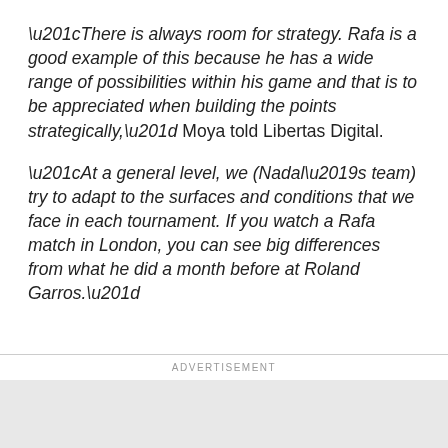“There is always room for strategy. Rafa is a good example of this because he has a wide range of possibilities within his game and that is to be appreciated when building the points strategically,” Moya told Libertas Digital.
“At a general level, we (Nadal’s team) try to adapt to the surfaces and conditions that we face in each tournament. If you watch a Rafa match in London, you can see big differences from what he did a month before at Roland Garros.”
ADVERTISEMENT